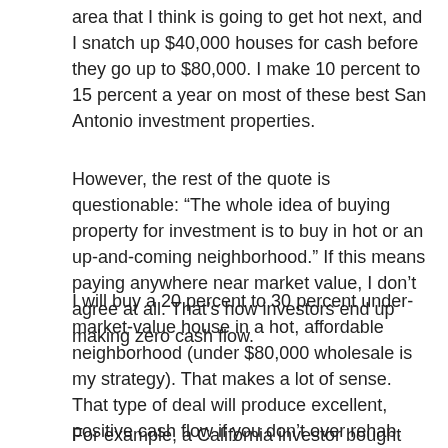area that I think is going to get hot next, and I snatch up $40,000 houses for cash before they go up to $80,000. I make 10 percent to 15 percent a year on most of these best San Antonio investment properties.
However, the rest of the quote is questionable: “The whole idea of buying property for investment is to buy in hot or an up-and-coming neighborhood.” If this means paying anywhere near market value, I don’t agree at all. That’s how investors end up making zero cash flow.
I will buy a 20 percent to 30 percent under-market-value house in a hot, affordable neighborhood (under $80,000 wholesale is my strategy). That makes a lot of sense. That type of deal will produce excellent, positive cash flow if you don’t over rehab.
For example, a California investor bought this three-bedroom, one-and-a-half bath, one-car garage in a